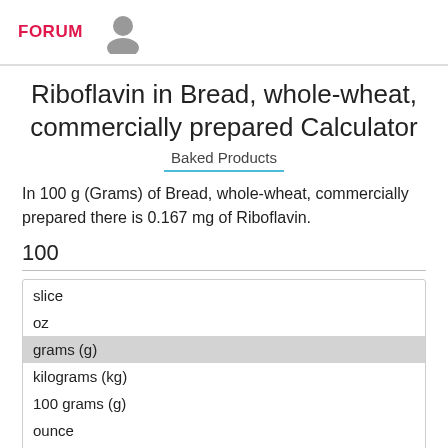FORUM
Riboflavin in Bread, whole-wheat, commercially prepared Calculator
Baked Products
In 100 g (Grams) of Bread, whole-wheat, commercially prepared there is 0.167 mg of Riboflavin.
100
slice
oz
grams (g)
kilograms (kg)
100 grams (g)
ounce
pound